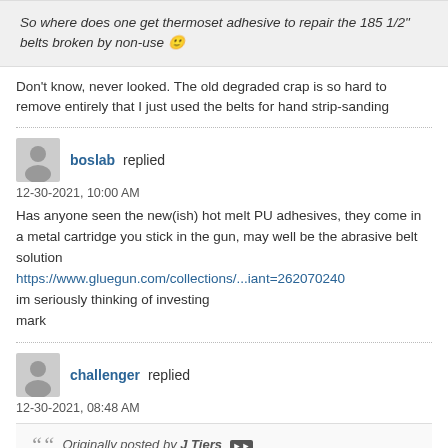So where does one get thermoset adhesive to repair the 185 1/2" belts broken by non-use 🙂
Don't know, never looked. The old degraded crap is so hard to remove entirely that I just used the belts for hand strip-sanding
boslab replied
12-30-2021, 10:00 AM
Has anyone seen the new(ish) hot melt PU adhesives, they come in a metal cartridge you stick in the gun, may well be the abrasive belt solution
https://www.gluegun.com/collections/...iant=262070240
im seriously thinking of investing
mark
challenger replied
12-30-2021, 08:48 AM
Originally posted by J Tiers
A "thermoset" glue is one which does not soften with heat